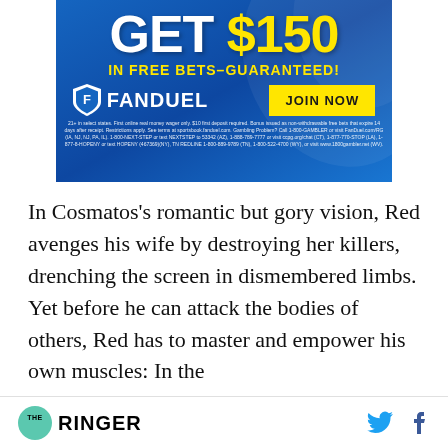[Figure (other): FanDuel advertisement banner: 'GET $150 IN FREE BETS–GUARANTEED!' with FanDuel logo and JOIN NOW button, plus fine print disclaimer text.]
In Cosmatos's romantic but gory vision, Red avenges his wife by destroying her killers, drenching the screen in dismembered limbs. Yet before he can attack the bodies of others, Red has to master and empower his own muscles: In the
THE RINGER [Twitter icon] [Facebook icon]